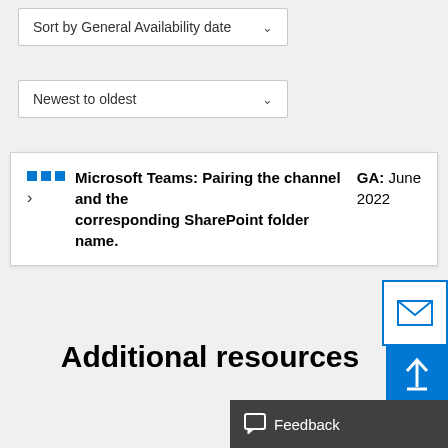Sort by General Availability date
Newest to oldest
Microsoft Teams: Pairing the channel and the corresponding SharePoint folder name. GA: June 2022
Additional resources
[Figure (screenshot): Email envelope icon button with blue border]
[Figure (screenshot): Upload/scroll-to-top arrow icon button with blue background]
Feedback